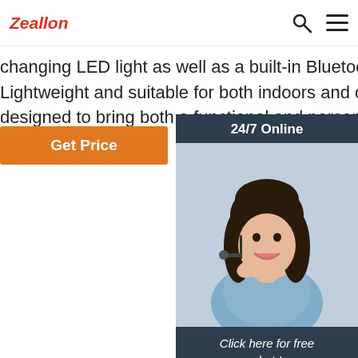Zeallon
changing LED light as well as a built-in Bluetooth speaker. Lightweight and suitable for both indoors and outdoors, it's designed to bring both a functional and personal
Get Price
[Figure (photo): Customer service representative woman with headset, with '24/7 Online' header, 'Click here for free chat!' text, and 'QUOTATION' orange button]
[Figure (photo): Product image strip showing colorful Bluetooth speakers: blue/orange striped with green camo speakers, black speaker, and red with blue diamond pattern speaker]